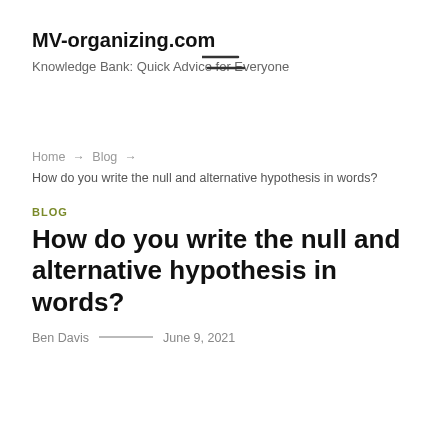MV-organizing.com
Knowledge Bank: Quick Advice for Everyone
[Figure (other): Hamburger menu icon (two horizontal lines, staggered)]
Home → Blog → How do you write the null and alternative hypothesis in words?
BLOG
How do you write the null and alternative hypothesis in words?
Ben Davis — June 9, 2021